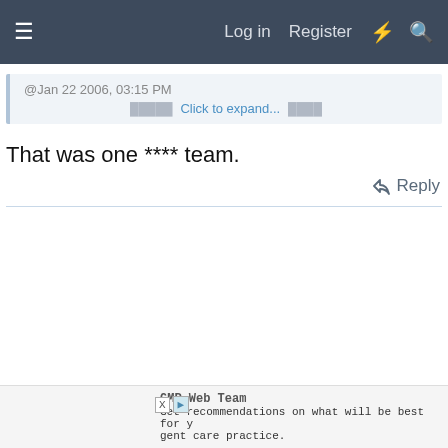≡   Log in   Register   ⚡   🔍
@Jan 22 2006, 03:15 PM
Click to expand...
That was one **** team.
↩ Reply
GMR Web Team
Get recommendations on what will be best for y
gent care practice.